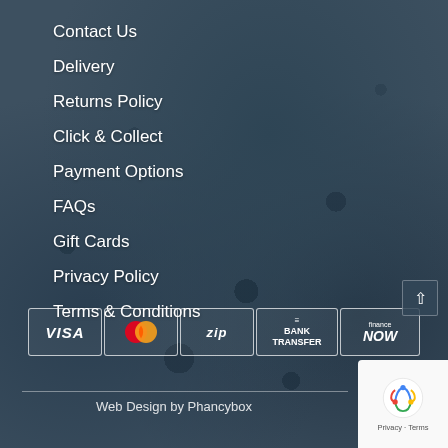Contact Us
Delivery
Returns Policy
Click & Collect
Payment Options
FAQs
Gift Cards
Privacy Policy
Terms & Conditions
[Figure (logo): Payment method logos: VISA, MasterCard, zip, BANK TRANSFER, finance NOW]
Web Design by Phancybox
[Figure (logo): reCAPTCHA badge with Google logo, Privacy and Terms links]